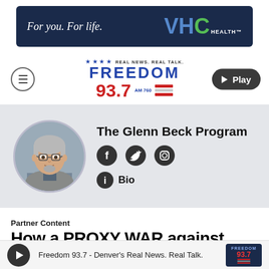[Figure (logo): VHC Health advertisement banner: 'For you. For life.' with VHC Health logo on dark navy background]
[Figure (logo): Freedom 93.7 radio station logo with 'Real News. Real Talk.' tagline, stars, red and blue color scheme, and AM 760 designation]
[Figure (logo): Play button in dark rounded pill shape]
[Figure (photo): Circular headshot photo of Glenn Beck, older man with gray hair and glasses, wearing a gray suit]
The Glenn Beck Program
Bio
Partner Content
How a PROXY WAR against
Freedom 93.7 - Denver's Real News. Real Talk.